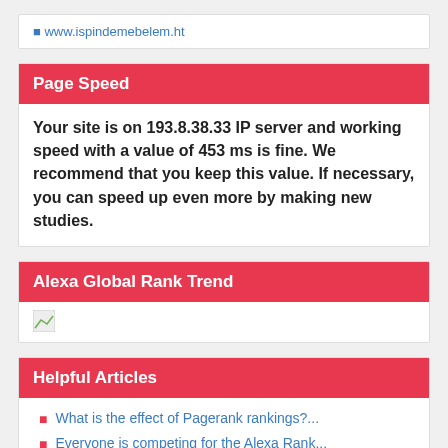www.ispindemebelem.ht
Page Speed
Your site is on 193.8.38.33 IP server and working speed with a value of 453 ms is fine. We recommend that you keep this value. If necessary, you can speed up even more by making new studies.
Alexa Global Rank Trend
[Figure (other): Broken image placeholder for Alexa Global Rank Trend chart]
Helpful Articles
What is the effect of Pagerank rankings?...
Everyone is competing for the Alexa Rank...
What is SEO and why is it necessary?...
Well-formed web site, why is it importan...
What is a well-defined web site?...
Chrome...